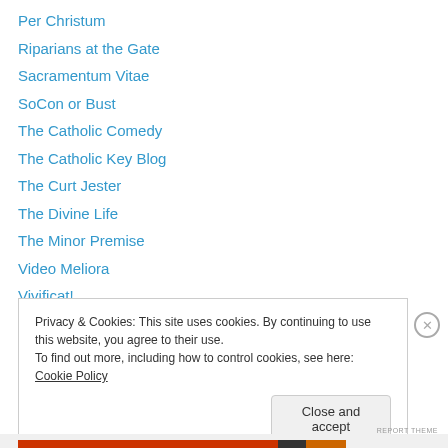Per Christum
Riparians at the Gate
Sacramentum Vitae
SoCon or Bust
The Catholic Comedy
The Catholic Key Blog
The Curt Jester
The Divine Life
The Minor Premise
Video Meliora
Vivificat!
Whosoever Desires
Privacy & Cookies: This site uses cookies. By continuing to use this website, you agree to their use. To find out more, including how to control cookies, see here: Cookie Policy
Close and accept